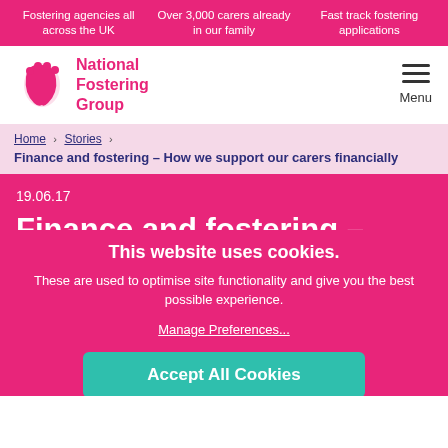Fostering agencies all across the UK | Over 3,000 carers already in our family | Fast track fostering applications
[Figure (logo): National Fostering Group logo with pink footprint icon and pink text]
Menu
Home › Stories › Finance and fostering – How we support our carers financially
19.06.17
Finance and fostering – How
This website uses cookies.
These are used to optimise site functionality and give you the best possible experience.
Manage Preferences...
Accept All Cookies